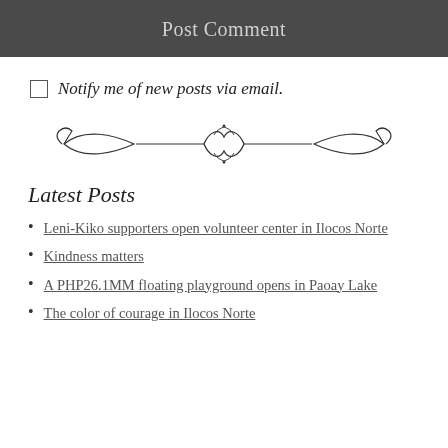Post Comment
Notify me of new posts via email.
[Figure (illustration): Decorative ornamental divider with scrollwork and bow-tie flourish design]
Latest Posts
Leni-Kiko supporters open volunteer center in Ilocos Norte
Kindness matters
A PHP26.1MM floating playground opens in Paoay Lake
The color of courage in Ilocos Norte